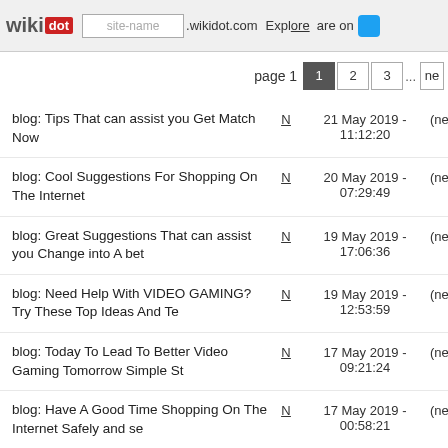wikidot | site-name .wikidot.com | Explore | Share on Twitter
page 1  1  2  3  ...  ne
blog: Tips That can assist you Get Match Now  N  21 May 2019 - 11:12:20  (new
blog: Cool Suggestions For Shopping On The Internet  N  20 May 2019 - 07:29:49  (new
blog: Great Suggestions That can assist you Change into A bet  N  19 May 2019 - 17:06:36  (new
blog: Need Help With VIDEO GAMING? Try These Top Ideas And Te  N  19 May 2019 - 12:53:59  (new
blog: Today To Lead To Better Video Gaming Tomorrow Simple St  N  17 May 2019 - 09:21:24  (new
blog: Have A Good Time Shopping On The Internet Safely and se  N  17 May 2019 - 00:58:21  (new
blog: Faculty Must be Working For You, Discover Out How you c  N  15 May 2019 - 21:36:53  (new